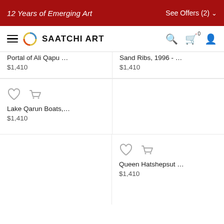12 Years of Emerging Art   See Offers (2)
SAATCHI ART
Portal of Ali Qapu …
$1,410
Sand Ribs, 1996 - …
$1,410
Lake Qarun Boats,…
$1,410
Queen Hatshepsut …
$1,410